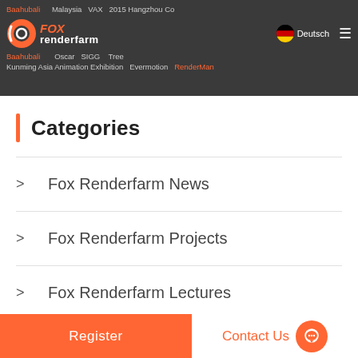Fox Renderfarm navigation bar with logo, Deutsch language selector, and navigation links including Baahubali, Malaysia, VAX, 2015 Hangzhou Co, Oscar, SIGG, Kunming Asia Animation Exhibition, Evermotion, RenderMan
Categories
> Fox Renderfarm News
> Fox Renderfarm Projects
> Fox Renderfarm Lectures
> CG Challenges
> Top News
Register    Contact Us